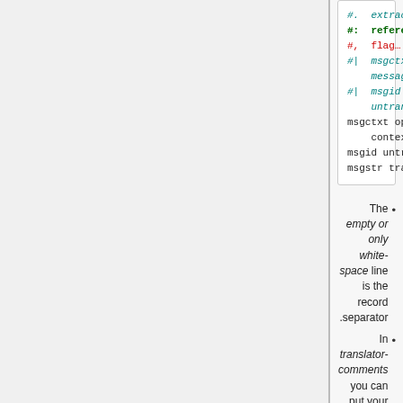[Figure (other): Code block showing PO file format syntax with colored lines: #: reference (green/bold), #, flag (red), #| msgctxt previous-message-context and #| msgid previous-untranslated-string (teal italic), msgctxt optional-message-context, msgid untranslated-string, msgstr translated-string (black monospace)]
The empty or only white-space line is the record separator.
In translator-comments you can put your own notes.
The extracted-comments are notes from the programmers for you.
One or more references tell you, where the message appears in the sources.
The most important flags will be